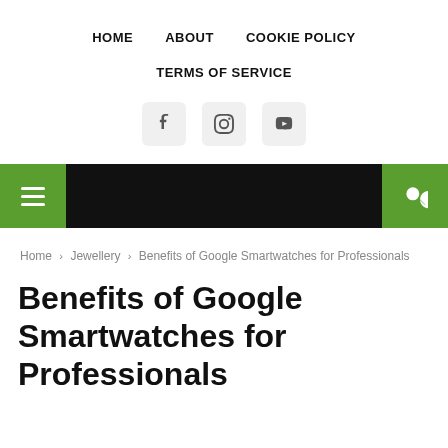HOME   ABOUT   COOKIE POLICY
TERMS OF SERVICE
[Figure (other): Social media icons: Facebook, Instagram, YouTube]
[Figure (other): Navigation bar with hamburger menu (green) on left, black center, search icon (green) on right]
Home > Jewellery > Benefits of Google Smartwatches for Professionals
Benefits of Google Smartwatches for Professionals